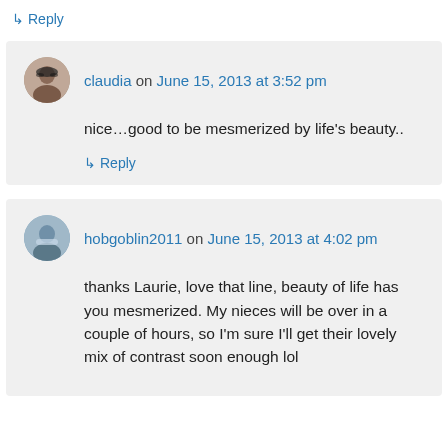↳ Reply
claudia on June 15, 2013 at 3:52 pm
nice…good to be mesmerized by life's beauty..
↳ Reply
hobgoblin2011 on June 15, 2013 at 4:02 pm
thanks Laurie, love that line, beauty of life has you mesmerized. My nieces will be over in a couple of hours, so I'm sure I'll get their lovely mix of contrast soon enough lol